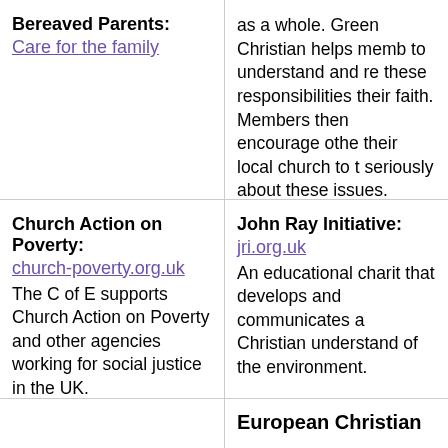Bereaved Parents:
Care for the family
as a whole. Green Christian helps members to understand and respond to these responsibilities through their faith. Members then encourage others in their local church to think seriously about these issues.
Church Action on Poverty:
church-poverty.org.uk
The C of E supports Church Action on Poverty and other agencies working for social justice in the UK.
John Ray Initiative:
jri.org.uk
An educational charity that develops and communicates a Christian understanding of the environment.
European Christian